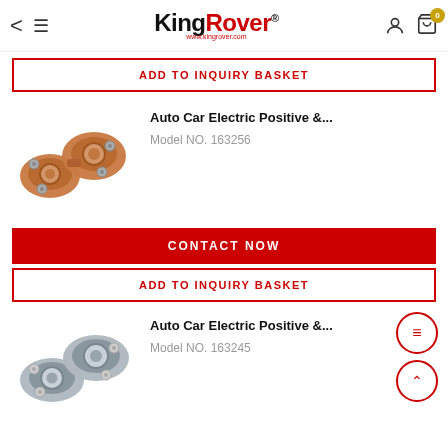KingRover www.kingrover.com
ADD TO INQUIRY BASKET
[Figure (photo): Two copper/bronze auto car battery terminal clamps (positive and negative)]
Auto Car Electric Positive &...
Model NO. 163256
CONTACT NOW
ADD TO INQUIRY BASKET
[Figure (photo): Two silver/chrome auto car battery terminal clamps (positive and negative)]
Auto Car Electric Positive &...
Model NO. 163245